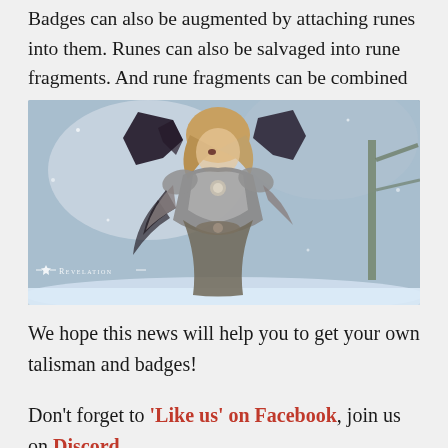Badges can also be augmented by attaching runes into them. Runes can also be salvaged into rune fragments. And rune fragments can be combined back into runes.
[Figure (photo): Screenshot from the game Revelation Online showing a female character in ornate silver and black armor with dark wings, standing in a snowy winter environment. The Revelation game logo watermark is visible in the lower left.]
We hope this news will help you to get your own talisman and badges!
Don't forget to 'Like us' on Facebook, join us on Discord